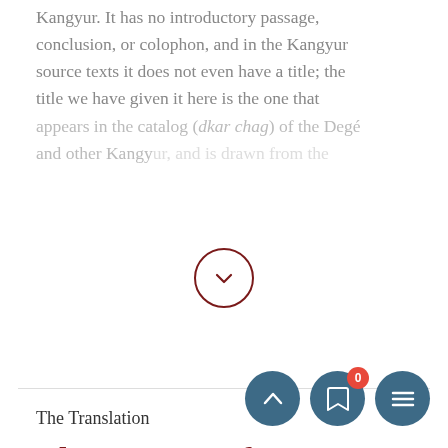Kangyur. It has no introductory passage, conclusion, or colophon, and in the Kangyur source texts it does not even have a title; the title we have given it here is the one that appears in the catalog (dkar chag) of the Degé and other Kangyur, and is drawn from the
The Translation
The Essence of Aparimitāyus